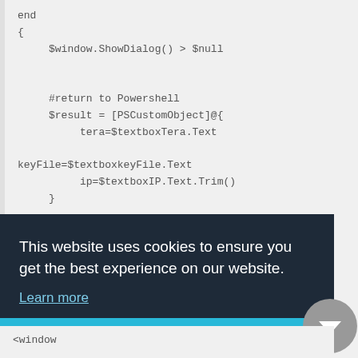end
{
    $window.ShowDialog() > $null


    #return to Powershell
    $result = [PSCustomObject]@{
        tera=$textboxTera.Text

keyFile=$textboxkeyFile.Text
        ip=$textboxIP.Text.Trim()
    }
This website uses cookies to ensure you get the best experience on our website.
Learn more
Got it!
<window